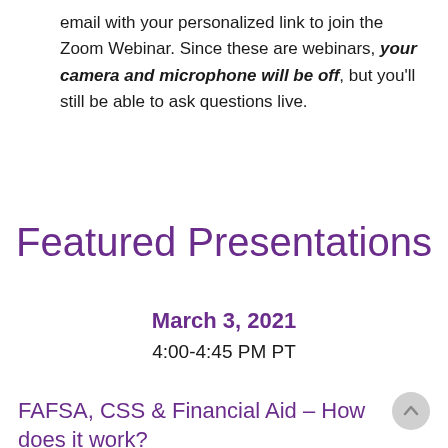email with your personalized link to join the Zoom Webinar. Since these are webinars, your camera and microphone will be off, but you'll still be able to ask questions live.
Featured Presentations
March 3, 2021
4:00-4:45 PM PT
FAFSA, CSS & Financial Aid – How does it work?